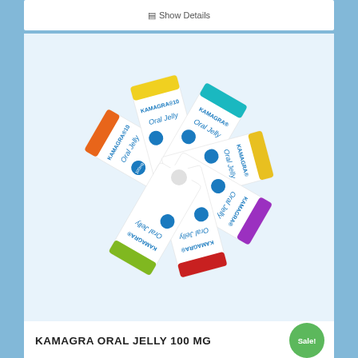Show Details
[Figure (photo): Fan arrangement of multiple Kamagra Oral Jelly 100mg sachets in different colors (orange, yellow, teal, green, red, purple, pink) arranged in a circular fan pattern on a white background]
KAMAGRA ORAL JELLY 100 MG
Sale!